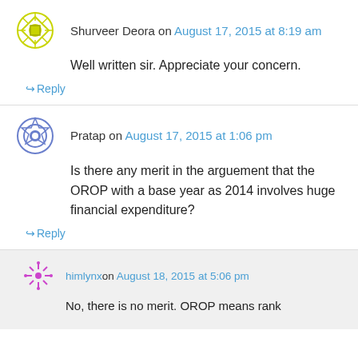Shurveer Deora on August 17, 2015 at 8:19 am
Well written sir. Appreciate your concern.
↪ Reply
Pratap on August 17, 2015 at 1:06 pm
Is there any merit in the arguement that the OROP with a base year as 2014 involves huge financial expenditure?
↪ Reply
himlynx on August 18, 2015 at 5:06 pm
No, there is no merit. OROP means rank